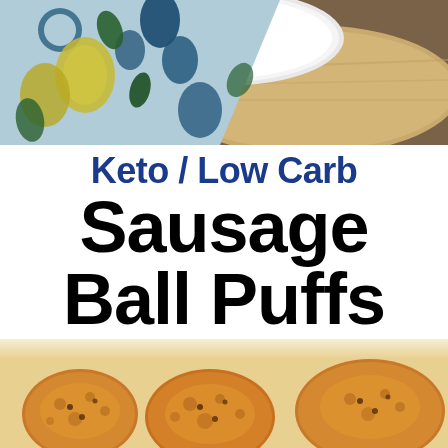[Figure (photo): Top photo showing a white plate with a decorative blue and yellow floral patterned cloth/napkin on a wooden cutting board, viewed from above]
Keto / Low Carb Sausage Ball Puffs
[Figure (photo): Bottom photo showing close-up of baked keto sausage ball puffs, golden brown with visible cheese and sausage texture]